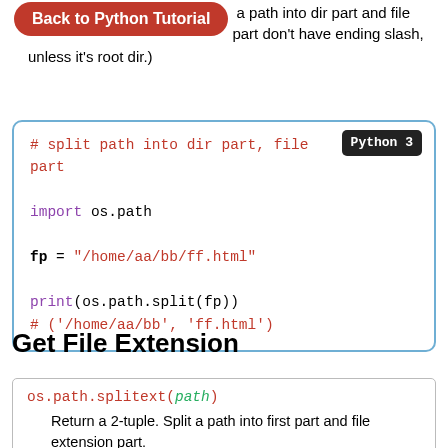Back to Python Tutorial [button] a path into dir part and file part don't have ending slash, unless it's root dir.)
[Figure (screenshot): Python 3 code box showing: # split path into dir part, file part
import os.path
fp = "/home/aa/bb/ff.html"
print(os.path.split(fp))
# ('/home/aa/bb', 'ff.html')]
Get File Extension
os.path.splitext(path)
    Return a 2-tuple. Split a path into first part and file extension part.